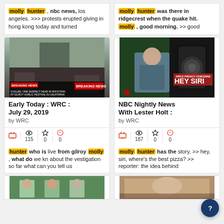molly hunter, nbc news, los angeles. >>> protests erupted giving in hong kong today and turned
molly hunter was there in ridgecrest when the quake hit. molly, good morning. >> good
[Figure (screenshot): TV news screenshot showing breaking news about a shooting at Gilroy Garlic Festival in California]
Early Today : WRC : July 29, 2019
by WRC
115 views, 0 stars, 0 quotes
hunter who is live from gilroy molly, what do we kn about the vestigation so far what can you tell us
[Figure (screenshot): NBC Nightly News with Lester Holt - anchor presenting with HEY SIRI graphic on screen]
NBC Nightly News With Lester Holt :
by WRC
187 views, 0 stars, 0 quotes
molly hunter has the story. >> hey, siri, where's the best pizza? >> reporter: the idea behind
[Figure (screenshot): Bottom left thumbnail - news segment with people]
[Figure (screenshot): Bottom right thumbnail - news segment]